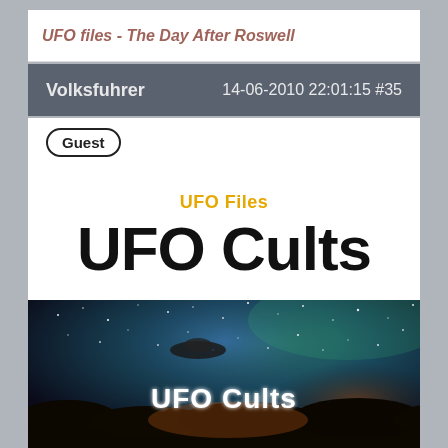UFO files - The Day After Roswell
Volksfuhrer   14-06-2010 22:01:15 #35
Guest
UFO Files
UFO Cults
[Figure (photo): Night sky with stars and cosmic nebula, a UFO silhouette visible, with 'UFO Cults' text overlaid in white bold font at the bottom center]